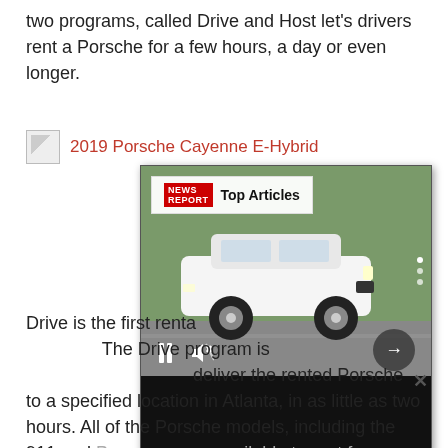two programs, called Drive and Host let's drivers rent a Porsche for a few hours, a day or even longer.
2019 Porsche Cayenne E-Hybrid
[Figure (screenshot): A video player overlay showing a white Nissan Rogue Sport SUV driving, with Top Articles label, pause and mute controls, next arrow button, and an article caption 'Nissan Rogue Sport will be discontinued - The Torque Report']
Drive is the first rental program launched by Porsche. The Drive program is only available in Atlanta. Porsche will deliver the rented Porsche to a specified location in Atlanta, in as little as two hours. All of the Porsche models, including the 911 and Panamera are available to rent for as short as four hours, although the rental can be extended to a day, a few days or even longer.